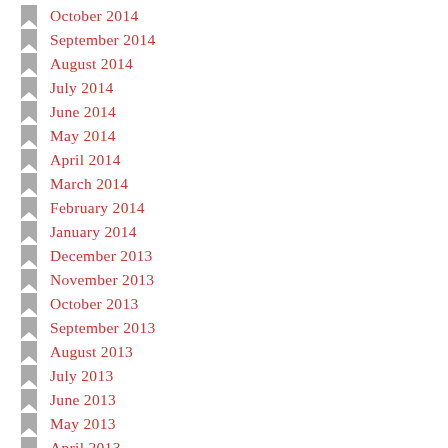October 2014
September 2014
August 2014
July 2014
June 2014
May 2014
April 2014
March 2014
February 2014
January 2014
December 2013
November 2013
October 2013
September 2013
August 2013
July 2013
June 2013
May 2013
April 2013